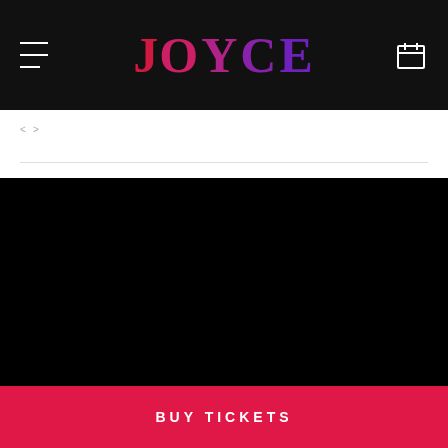[Figure (logo): JOYCE theater logo in large colorful letters on black header bar, with hamburger menu icon on left and calendar icon on right]
< >
[Figure (photo): Dark/black image area, appears to be a performance or event photo with very low visibility]
BUY TICKETS